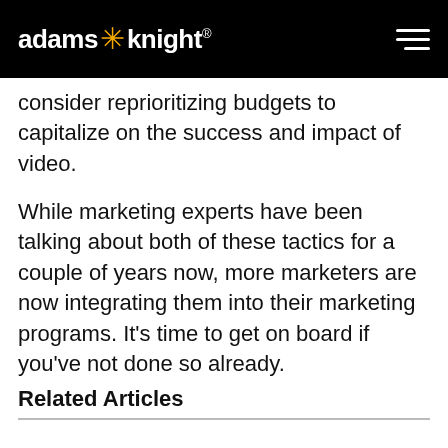adams * knight®
consider reprioritizing budgets to capitalize on the success and impact of video.
While marketing experts have been talking about both of these tactics for a couple of years now, more marketers are now integrating them into their marketing programs. It's time to get on board if you've not done so already.
Related Articles